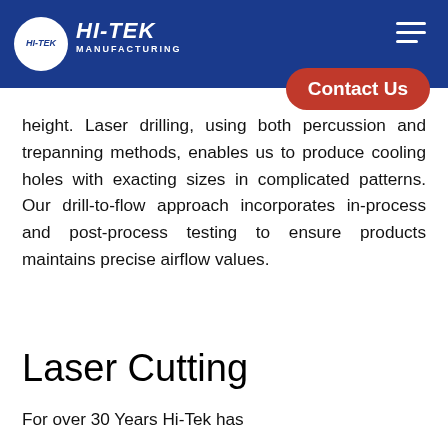HI-TEK MANUFACTURING
height. Laser drilling, using both percussion and trepanning methods, enables us to produce cooling holes with exacting sizes in complicated patterns. Our drill-to-flow approach incorporates in-process and post-process testing to ensure products maintains precise airflow values.
Laser Cutting
For over 30 Years Hi-Tek has